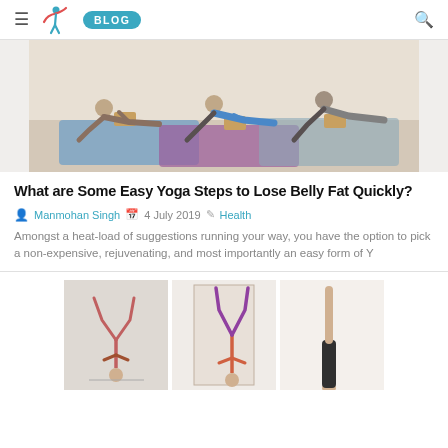≡ [logo] BLOG [search]
[Figure (photo): Three people doing yoga/plank pose on yoga mats in a studio, using yoga blocks for support]
What are Some Easy Yoga Steps to Lose Belly Fat Quickly?
Manmohan Singh  4 July 2019  Health
Amongst a heat-load of suggestions running your way, you have the option to pick a non-expensive, rejuvenating, and most importantly an easy form of Y
[Figure (photo): Three photos of people doing yoga inversions/handstands]